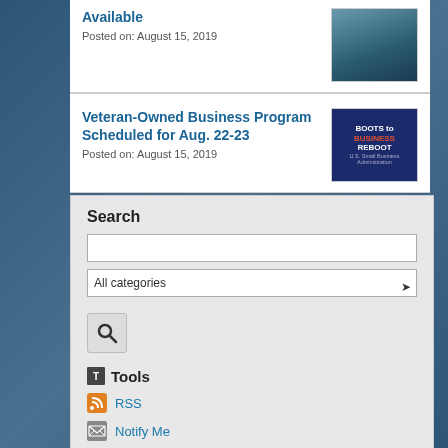Available
Posted on: August 15, 2019
Veteran-Owned Business Program Scheduled for Aug. 22-23
Posted on: August 15, 2019
Search
All categories
Tools
RSS
Notify Me
View Archived
Categories